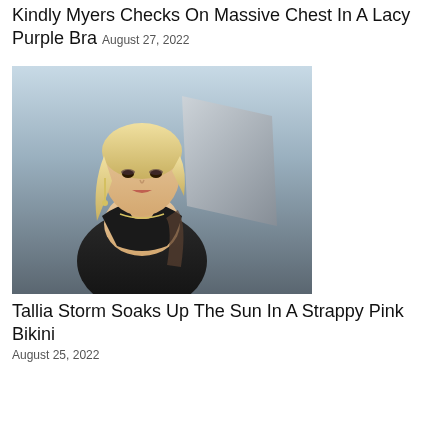Kindly Myers Checks On Massive Chest In A Lacy Purple Bra
August 27, 2022
[Figure (photo): Blonde woman in a black dress posing in front of a metallic background]
Tallia Storm Soaks Up The Sun In A Strappy Pink Bikini
August 25, 2022